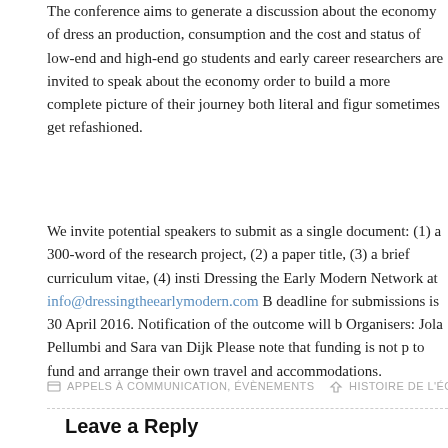The conference aims to generate a discussion about the economy of dress and production, consumption and the cost and status of low-end and high-end goods. students and early career researchers are invited to speak about the economy in order to build a more complete picture of their journey both literal and figuratively. sometimes get refashioned.
We invite potential speakers to submit as a single document: (1) a 300-word of the research project, (2) a paper title, (3) a brief curriculum vitae, (4) institution. Dressing the Early Modern Network at info@dressingtheearlymodern.com. The deadline for submissions is 30 April 2016. Notification of the outcome will be. Organisers: Jola Pellumbi and Sara van Dijk Please note that funding is not provided to fund and arrange their own travel and accommodations.
APPELS À COMMUNICATION, ÉVÉNEMENTS   HISTOIRE DE L'ÉCON...
Leave a Reply
You must be logged in to post a comment.